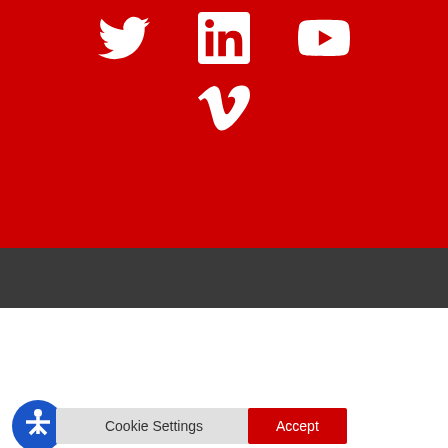[Figure (illustration): Red background section with white social media icons: Twitter (bird), LinkedIn (in), YouTube (play button triangle), and Vimeo (v) logos arranged in two rows]
[Figure (illustration): Dark gray horizontal band separating red section from white cookie consent section]
We use cookies on our website to give you the most relevant experience by remembering your preferences and repeat visits. By clicking “Accept”, you consent to the use of ALL the cookies.
Do not sell my personal information.
[Figure (illustration): Cookie Settings button (gray) and Accept button (red), with blue circular accessibility icon (person in circle) overlapping the left side of the Cookie Settings button]